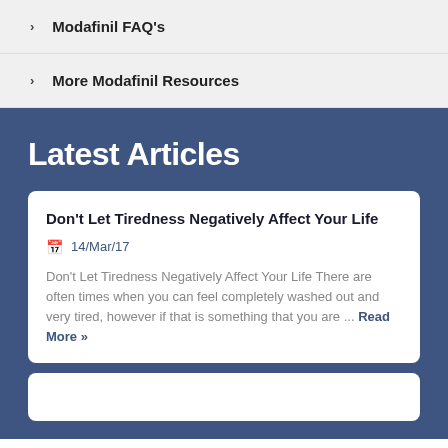Modafinil FAQ's
More Modafinil Resources
Latest Articles
Don't Let Tiredness Negatively Affect Your Life
14/Mar/17
Don't Let Tiredness Negatively Affect Your Life There are often times when you can feel completely washed out and very tired, however if that is something that you are ... Read More »